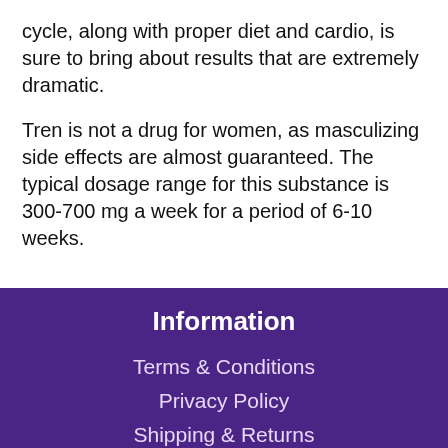cycle, along with proper diet and cardio, is sure to bring about results that are extremely dramatic.
Tren is not a drug for women, as masculizing side effects are almost guaranteed. The typical dosage range for this substance is 300-700 mg a week for a period of 6-10 weeks.
Information
Terms & Conditions
Privacy Policy
Shipping & Returns
Pay with Credit Card
Contact Us
Service